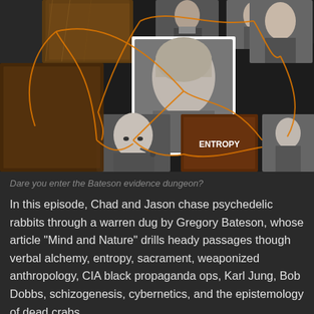[Figure (infographic): A dark collage of black-and-white and sepia photographs of various historical figures connected by orange curving lines. Photos include women and men in formal attire, a cheerful man with a pipe, an abstract fiery image labeled ENTROPY, and occult symbols. The collage covers the top portion of the page on a near-black background.]
Dare you enter the Bateson evidence dungeon?
In this episode, Chad and Jason chase psychedelic rabbits through a warren dug by Gregory Bateson, whose article “Mind and Nature” drills heady passages though verbal alchemy, entropy, sacrament, weaponized anthropology, CIA black propaganda ops, Karl Jung, Bob Dobbs, schizogenesis, cybernetics, and the epistemology of dead crabs.
Content warning: While generally a fun and trippy